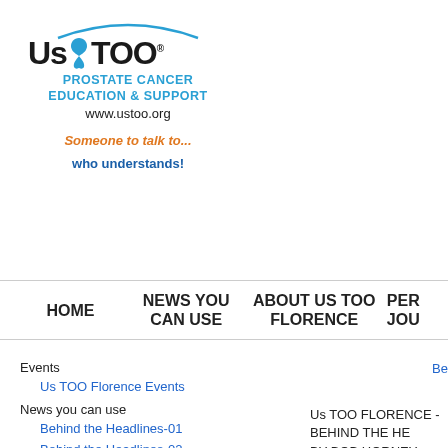[Figure (logo): Us TOO Prostate Cancer Education & Support logo with ribbon symbol and arc, www.ustoo.org, tagline 'Someone to talk to... who understands!']
HOME | NEWS YOU CAN USE | ABOUT US TOO FLORENCE | PER... JOU...
Events
Us TOO Florence Events
News you can use
Behind the Headlines-01
Us TOO FLORENCE - BEHIND THE HE... BY BOB HORNEY - PROSTATE CANCE... (Published September 11, 2013, The Si...
Be